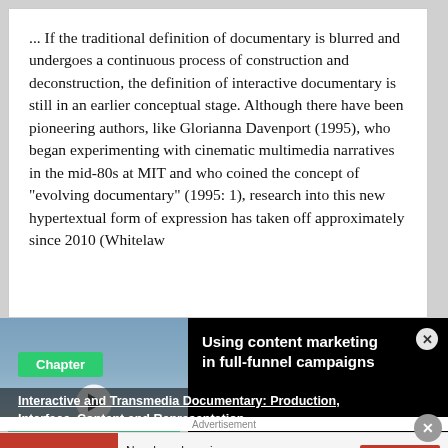... If the traditional definition of documentary is blurred and undergoes a continuous process of construction and deconstruction, the definition of interactive documentary is still in an earlier conceptual stage. Although there have been pioneering authors, like Glorianna Davenport (1995), who began experimenting with cinematic multimedia narratives in the mid-80s at MIT and who coined the concept of "evolving documentary" (1995: 1), research into this new hypertextual form of expression has taken off approximately since 2010 (Whitelaw
[Figure (screenshot): Video advertisement overlay showing two people in an office with text 'USING CONTENT MARKETING IN FULL-FUNNEL CAMPAIGNS' on a green banner, with a play button. Title reads 'Using content marketing in full-funnel campaigns' with a close button.]
Interactive and Transmedia Documentary: Production, Interface, Content and Representation
Advertisement
[Figure (screenshot): ThermoFisher Scientific advertisement banner. Red logo section on left, text 'New brand coming, same trusted formula' in middle, red 'Learn more' button on right.]
Chapter